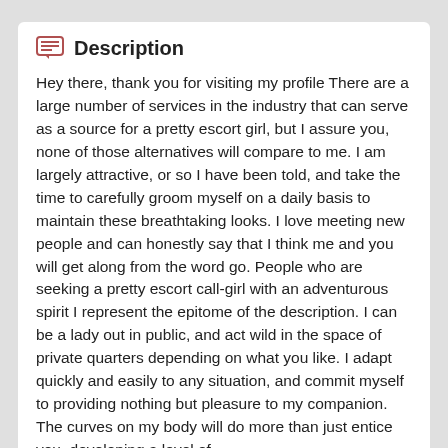Description
Hey there, thank you for visiting my profile There are a large number of services in the industry that can serve as a source for a pretty escort girl, but I assure you, none of those alternatives will compare to me. I am largely attractive, or so I have been told, and take the time to carefully groom myself on a daily basis to maintain these breathtaking looks. I love meeting new people and can honestly say that I think me and you will get along from the word go. People who are seeking a pretty escort call-girl with an adventurous spirit I represent the epitome of the description. I can be a lady out in public, and act wild in the space of private quarters depending on what you like. I adapt quickly and easily to any situation, and commit myself to providing nothing but pleasure to my companion. The curves on my body will do more than just entice you, developing a level of